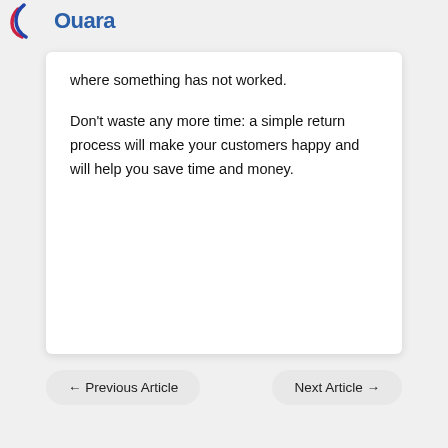Ouara (logo)
where something has not worked.
Don't waste any more time: a simple return process will make your customers happy and will help you save time and money.
← Previous Article
Next Article →